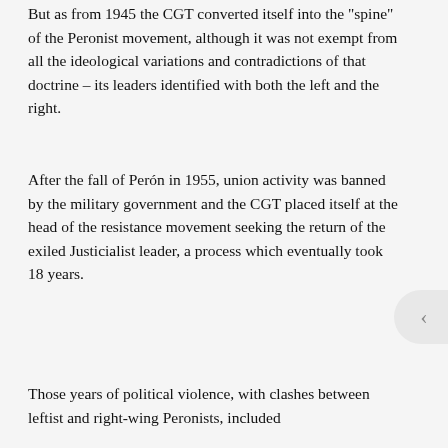But as from 1945 the CGT converted itself into the "spine" of the Peronist movement, although it was not exempt from all the ideological variations and contradictions of that doctrine – its leaders identified with both the left and the right.
After the fall of Perón in 1955, union activity was banned by the military government and the CGT placed itself at the head of the resistance movement seeking the return of the exiled Justicialist leader, a process which eventually took 18 years.
Those years of political violence, with clashes between leftist and right-wing Peronists, included